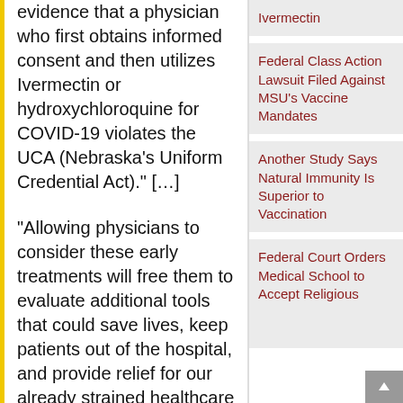evidence that a physician who first obtains informed consent and then utilizes Ivermectin or hydroxychloroquine for COVID-19 violates the UCA (Nebraska’s Uniform Credential Act).” […]
“Allowing physicians to consider these early treatments will free them to evaluate additional tools that could save lives, keep patients out of the hospital, and provide relief for our already strained healthcare system,” AG Doug Peterson wrote.
The Office of AG pointed to
Ivermectin
Federal Class Action Lawsuit Filed Against MSU’s Vaccine Mandates
Another Study Says Natural Immunity Is Superior to Vaccination
Federal Court Orders Medical School to Accept Religious